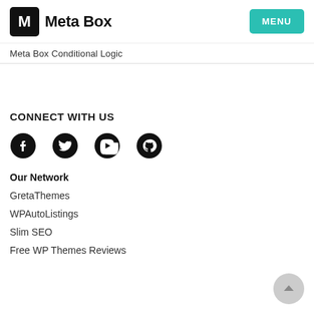Meta Box | MENU
Meta Box Conditional Logic
CONNECT WITH US
[Figure (illustration): Social media icons row: Facebook, Twitter, YouTube, GitHub]
Our Network
GretaThemes
WPAutoListings
Slim SEO
Free WP Themes Reviews